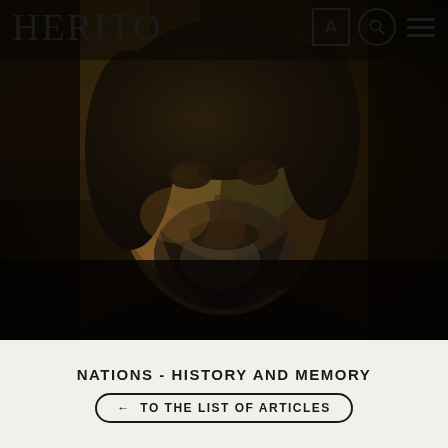HERITO
[Figure (photo): Dark moody portrait of a middle-aged man with dark hair and beard, wearing a black top, lit with warm amber/green tones from the side against a dark background]
NATIONS - HISTORY AND MEMORY
← TO THE LIST OF ARTICLES